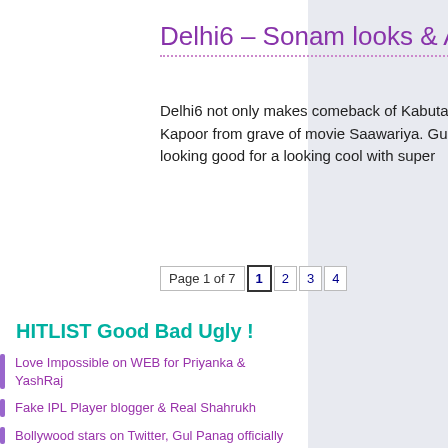Delhi6 – Sonam looks & AR Rahman Music
Delhi6 not only makes comeback of Kabutar but also Sonam Kapoor from grave of movie Saawariya. Guess what? all is looking good for a looking cool with super
Page 1 of 7  1  2  3  4
HITLIST Good Bad Ugly !
Love Impossible on WEB for Priyanka & YashRaj
Fake IPL Player blogger & Real Shahrukh
Bollywood stars on Twitter, Gul Panag officially
Shirtless Neil Mukesh drop Jail pants in real
Shahrukh & Aamir together - Money Ka Magic !